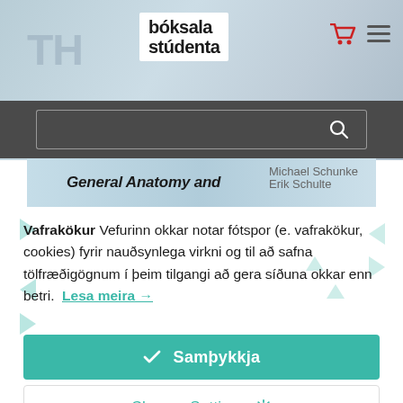[Figure (screenshot): Website header showing bóksala stúdenta logo with shopping cart and hamburger menu icons, and a blurred book cover in the background]
[Figure (screenshot): Dark grey search bar with text input field and search magnifying glass button]
[Figure (screenshot): Book cover showing 'General Anatomy and' text on a light blue background]
Vafrakökur Vefurinn okkar notar fótspor (e. vafrakökur, cookies) fyrir nauðsynlega virkni og til að safna tölfræðigögnum í þeim tilgangi að gera síðuna okkar enn betri. Lesa meira →
[Figure (screenshot): Teal/green Accept button labeled 'Samþykkja' with checkmark]
[Figure (screenshot): White Change Settings button with gear icon]